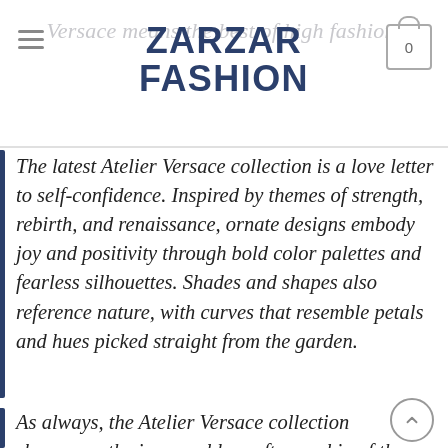ZARZAR FASHION
The latest Atelier Versace collection is a love letter to self-confidence. Inspired by themes of strength, rebirth, and renaissance, ornate designs embody joy and positivity through bold color palettes and fearless silhouettes. Shades and shapes also reference nature, with curves that resemble petals and hues picked straight from the garden.
As always, the Atelier Versace collection showcases the impeccable craftsmanship of the Atelier Versace sarte, or dressmakers. Known for their meticulous techniques, they